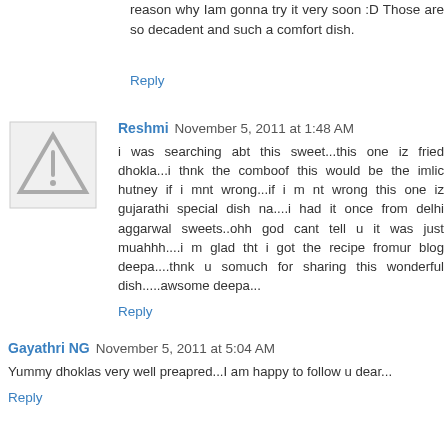reason why Iam gonna try it very soon :D Those are so decadent and such a comfort dish.
Reply
Reshmi November 5, 2011 at 1:48 AM
i was searching abt this sweet...this one iz fried dhokla...i thnk the comboof this would be the imlic hutney if i mnt wrong...if i m nt wrong this one iz gujarathi special dish na....i had it once from delhi aggarwal sweets..ohh god cant tell u it was just muahhh....i m glad tht i got the recipe fromur blog deepa....thnk u somuch for sharing this wonderful dish.....awsome deepa...
Reply
Gayathri NG November 5, 2011 at 5:04 AM
Yummy dhoklas very well preapred...I am happy to follow u dear...
Reply